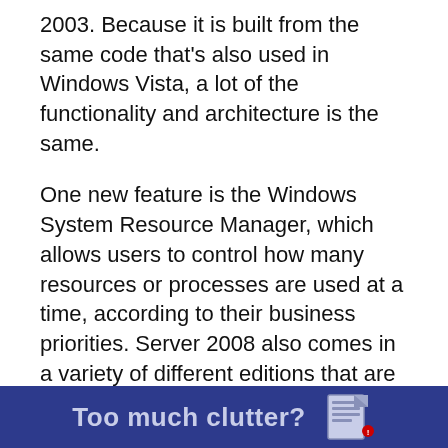2003. Because it is built from the same code that's also used in Windows Vista, a lot of the functionality and architecture is the same.
One new feature is the Windows System Resource Manager, which allows users to control how many resources or processes are used at a time, according to their business priorities. Server 2008 also comes in a variety of different editions that are available in both x86-64 bit and x86-32 bit versions.
According to Bruce Cowper, senior program manager of Microsoft Canada's security initiative, Microsoft's roadmap moving forward will be purely 64-bit.
[Figure (infographic): Dark blue banner at the bottom of the page with bold text 'Too much clutter?' and a small document/newspaper icon on the right.]